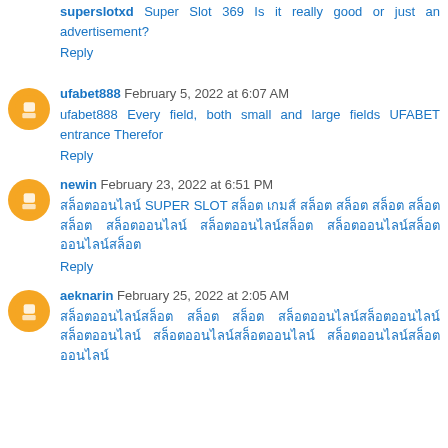superslotxd Super Slot 369 Is it really good or just an advertisement?
Reply
ufabet888 February 5, 2022 at 6:07 AM
ufabet888 Every field, both small and large fields UFABET entrance Therefor
Reply
newin February 23, 2022 at 6:51 PM
สล็อตออนไลน์ SUPER SLOT สล็อต เกมส์ สล็อต สล็อต สล็อต สล็อต สล็อต สล็อตออนไลน์ สล็อตออนไลน์สล็อต สล็อตออนไลน์สล็อตออนไลน์สล็อต
Reply
aeknarin February 25, 2022 at 2:05 AM
สล็อตออนไลน์สล็อต สล็อต สล็อต สล็อตออนไลน์สล็อตออนไลน์สล็อตออนไลน์ สล็อตออนไลน์สล็อตออนไลน์ สล็อตออนไลน์สล็อตออนไลน์